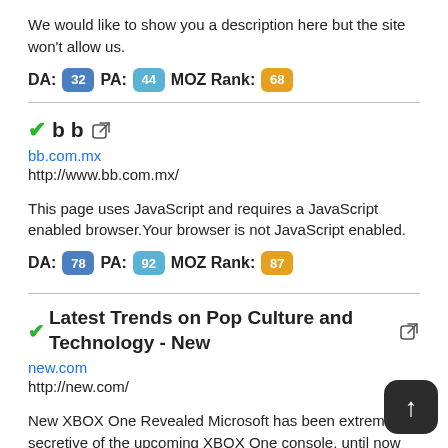We would like to show you a description here but the site won't allow us.
DA: 32  PA: 44  MOZ Rank: 68
b b
bb.com.mx
http://www.bb.com.mx/
This page uses JavaScript and requires a JavaScript enabled browser.Your browser is not JavaScript enabled.
DA: 78  PA: 92  MOZ Rank: 87
Latest Trends on Pop Culture and Technology - New
new.com
http://new.com/
New XBOX One Revealed Microsoft has been extremely secretive of the upcoming XBOX One console, until now Microsoft has finally announced that they will be releasi... ... Mercedez BIOME Seed Racer Though this concept car is not available to the public yet and is years ahead of its time,